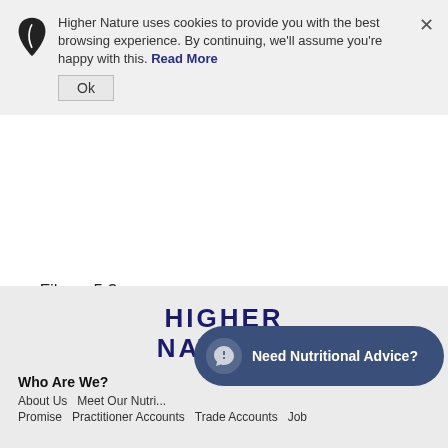Higher Nature uses cookies to provide you with the best browsing experience. By continuing, we'll assume you're happy with this. Read More
Ok
Saturated fat - 9.2g
Fibre - 5.3g
Return to Health Matters
[Figure (logo): Higher Nature logo in dark navy bold uppercase text]
Who Are We?
About Us    Meet Our Nutri...
Promise    Practitioner Accounts    Trade Accounts    Job
[Figure (other): Need Nutritional Advice? chat button in dark blue rounded pill shape]